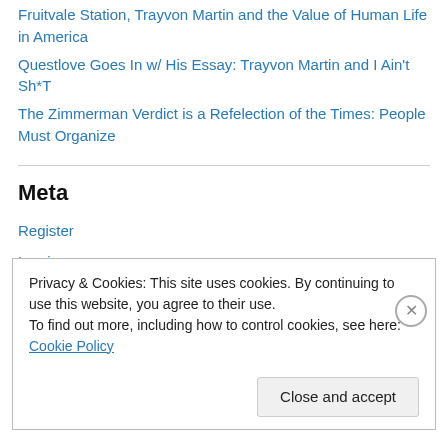Fruitvale Station, Trayvon Martin and the Value of Human Life in America
Questlove Goes In w/ His Essay: Trayvon Martin and I Ain't Sh*T
The Zimmerman Verdict is a Refelection of the Times: People Must Organize
Meta
Register
Log in
Entries feed
Comments feed
Privacy & Cookies: This site uses cookies. By continuing to use this website, you agree to their use.
To find out more, including how to control cookies, see here: Cookie Policy
Close and accept